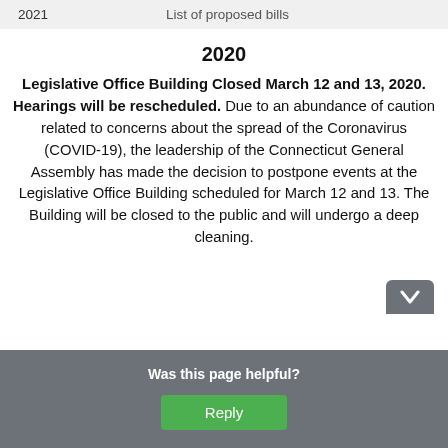| Year | Description |
| --- | --- |
| 2021 | List of proposed bills |
2020
Legislative Office Building Closed March 12 and 13, 2020. Hearings will be rescheduled. Due to an abundance of caution related to concerns about the spread of the Coronavirus (COVID-19), the leadership of the Connecticut General Assembly has made the decision to postpone events at the Legislative Office Building scheduled for March 12 and 13. The Building will be closed to the public and will undergo a deep cleaning.
Was this page helpful?
Reply